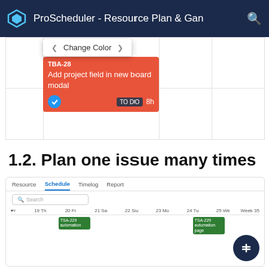ProScheduler - Resource Plan & Gan
[Figure (screenshot): App screenshot showing a Kanban/resource board with a 'Change Color' dropdown menu and an orange task card labeled TBA-28 'Add project field in new board modal' with a TO DO badge and 8h estimate]
1.2. Plan one issue many times
[Figure (screenshot): App screenshot showing a Schedule view with Resource/Schedule/Timelog/Report tabs, a search bar, and a calendar grid with days 19 Th through 25 We, Week 35, showing green task cards for TSA-228 automation entries]